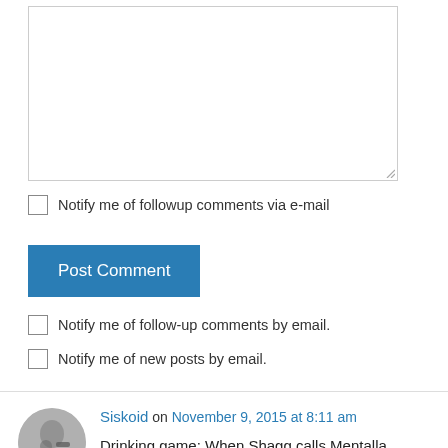[Figure (other): Empty textarea input box with resize handle at bottom right]
Notify me of followup comments via e-mail
Post Comment
Notify me of follow-up comments by email.
Notify me of new posts by email.
Siskoid on November 9, 2015 at 8:11 am
Drinking game: When Shagg calls Mentalla “Mentalia”, lose your freaking mind!!! 😉
The cover: It’s dynamic and colorful enough, and there are some fun gags, but all I can see is Mon-El wearing a cape